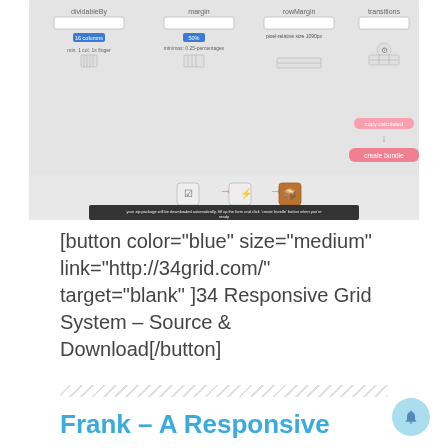[Figure (screenshot): Screenshot of 34 Grid System web interface showing configuration options for dividableBy, margin, rowMargin, and transitions with a form and 'create bundle' button]
[button color="blue" size="medium" link="http://34grid.com/" target="blank" ]34 Responsive Grid System – Source & Download[/button]
Frank – A Responsive WordPress Theme